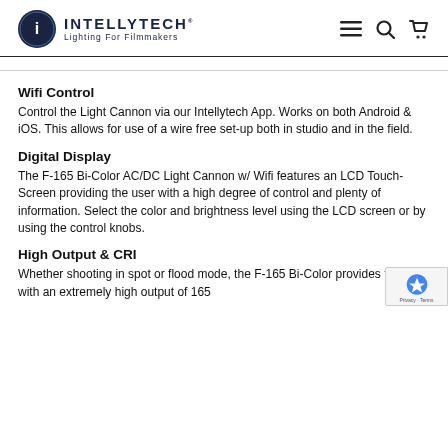INTELLYTECH — Lighting For Filmmakers
Wifi Control
Control the Light Cannon via our Intellytech App. Works on both Android & iOS. This allows for use of a wire free set-up both in studio and in the field.
Digital Display
The F-165 Bi-Color AC/DC Light Cannon w/ Wifi features an LCD Touch-Screen providing the user with a high degree of control and plenty of information. Select the color and brightness level using the LCD screen or by using the control knobs.
High Output & CRI
Whether shooting in spot or flood mode, the F-165 Bi-Color provides the user with an extremely high output of 165 Watts. The high output is also accompanied by filling in...